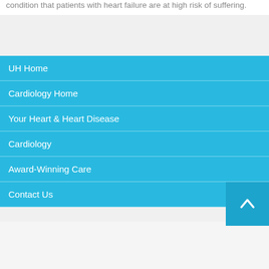condition that patients with heart failure are at high risk of suffering.
UH Home
Cardiology Home
Your Heart & Heart Disease
Cardiology
Award-Winning Care
Contact Us